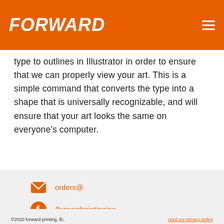FORWARD
type to outlines in Illustrator in order to ensure that we can properly view your art. This is a simple command that converts the type into a shape that is universally recognizable, and will ensure that your art looks the same on everyone's computer.
orders@
/forwardprintinginc
/forwardprinting
©2020 forward printing, llc.    read our privacy policy